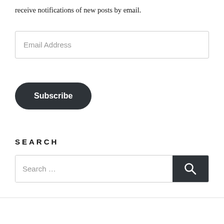receive notifications of new posts by email.
Email Address
Subscribe
SEARCH
Search ...